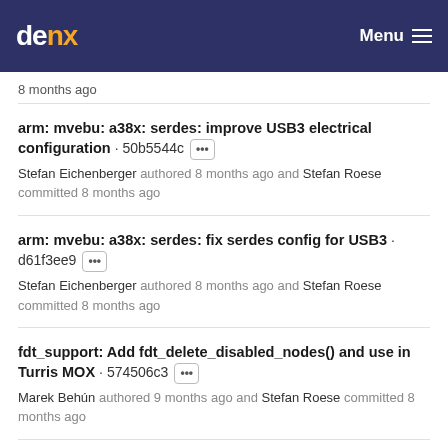denx  Menu
8 months ago
arm: mvebu: a38x: serdes: improve USB3 electrical configuration · 50b5544c ···
Stefan Eichenberger authored 8 months ago and Stefan Roese committed 8 months ago
arm: mvebu: a38x: serdes: fix serdes config for USB3 · d61f3ee9 ···
Stefan Eichenberger authored 8 months ago and Stefan Roese committed 8 months ago
fdt_support: Add fdt_delete_disabled_nodes() and use in Turris MOX · 574506c3 ···
Marek Behún authored 9 months ago and Stefan Roese committed 8 months ago
arm: mvebu: turris_mox: Fix unstable board topology
Imprint & Privacy Policy